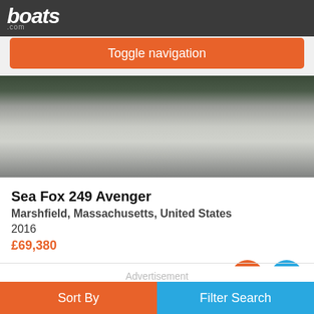boats.com
Toggle navigation
[Figure (photo): Underside view of a Sea Fox 249 Avenger boat on a trailer, showing hull and trailer components on a grassy outdoor background]
Sea Fox 249 Avenger
Marshfield, Massachusetts, United States
2016
£69,380
Seller McShane Yacht Sales
Advertisement
Sort By
Filter Search